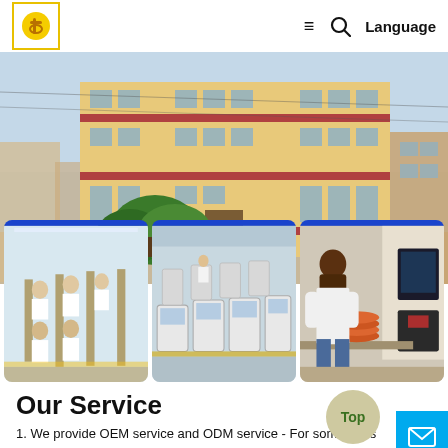Logo | ≡ 🔍 Language
[Figure (photo): Exterior photo of a multi-story factory/office building with beige walls and red trim, surrounded by trees, blue sky background.]
[Figure (photo): Three factory interior photos side by side: (1) workers at assembly line benches, (2) automated machinery on a factory floor, (3) worker handling components next to equipment.]
Our Service
1. We provide OEM service and ODM service - For some hot s we designed safe, featured and fashionable packaging. They a